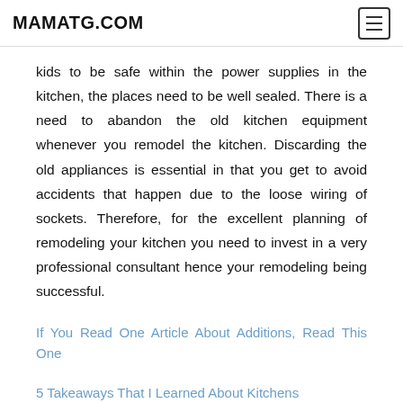MAMATG.COM
kids to be safe within the power supplies in the kitchen, the places need to be well sealed. There is a need to abandon the old kitchen equipment whenever you remodel the kitchen. Discarding the old appliances is essential in that you get to avoid accidents that happen due to the loose wiring of sockets. Therefore, for the excellent planning of remodeling your kitchen you need to invest in a very professional consultant hence your remodeling being successful.
If You Read One Article About Additions, Read This One
5 Takeaways That I Learned About Kitchens